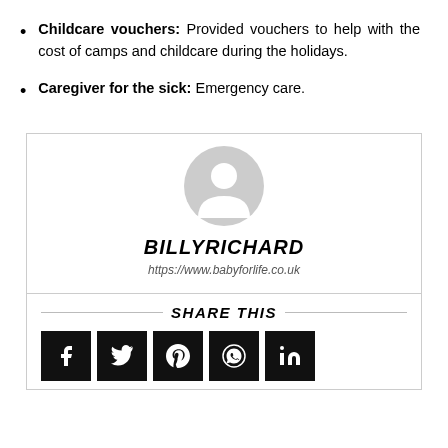Childcare vouchers: Provided vouchers to help with the cost of camps and childcare during the holidays.
Caregiver for the sick: Emergency care.
[Figure (illustration): Author profile card with grey avatar icon, bold italic name BILLYRICHARD, and URL https://www.babyforlife.co.uk]
SHARE THIS
[Figure (infographic): Row of 5 social share icon buttons (Facebook, Twitter, Pinterest, WhatsApp, LinkedIn) with black background]